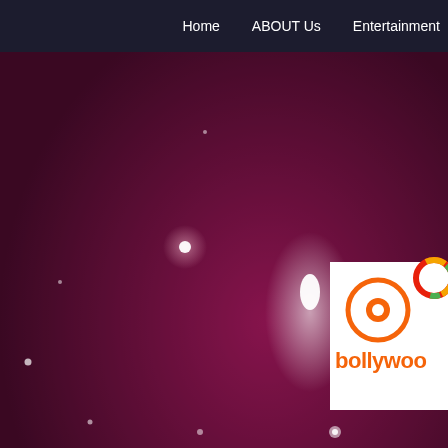Home  ABOUT Us  Entertainment
[Figure (illustration): Dark purple/magenta hero banner with scattered light bokeh effects and a Bollywood-themed website logo (film reel icon, orange text reading 'bollywoo...') overlaid on the right side]
Home  ABOUT Us  Entertainment N
Posted by admin in Breaking News, Latest News,  Comments Off
MALAD WALKATHON – D ANEEL KASHI MURARKA